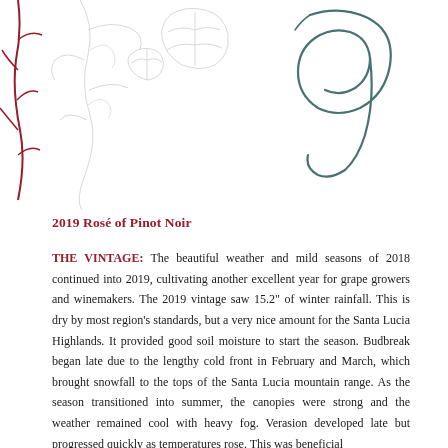[Figure (illustration): Decorative header with botanical vine/leaf illustration on the left side and a large cursive letter 'g' (or decorative script monogram) on the right, rendered in light gray outlines with a red accent branch on the far left.]
2019 Rosé of Pinot Noir
THE VINTAGE: The beautiful weather and mild seasons of 2018 continued into 2019, cultivating another excellent year for grape growers and winemakers. The 2019 vintage saw 15.2" of winter rainfall. This is dry by most region's standards, but a very nice amount for the Santa Lucia Highlands. It provided good soil moisture to start the season. Budbreak began late due to the lengthy cold front in February and March, which brought snowfall to the tops of the Santa Lucia mountain range. As the season transitioned into summer, the canopies were strong and the weather remained cool with heavy fog. Verasion developed late but progressed quickly as temperatures rose. This was beneficial